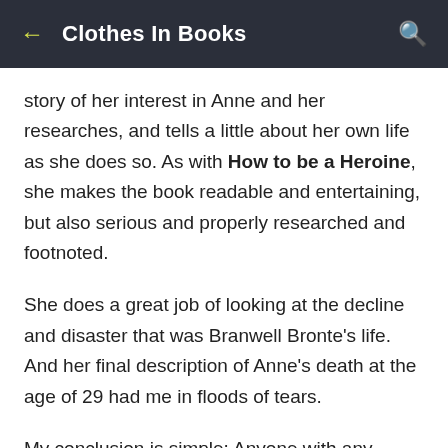Clothes In Books
story of her interest in Anne and her researches, and tells a little about her own life as she does so. As with How to be a Heroine, she makes the book readable and entertaining, but also serious and properly researched and footnoted.
She does a great job of looking at the decline and disaster that was Branwell Bronte's life. And her final description of Anne's death at the age of 29 had me in floods of tears.
My conclusion is simple: Anyone with any interest in the